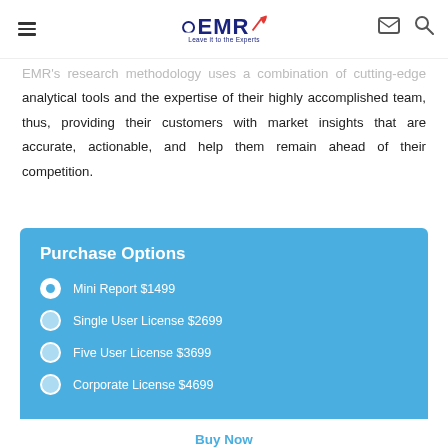EMR — Leave it to the Experts
EMR's research methodology uses a combination of cutting-edge analytical tools and the expertise of their highly accomplished team, thus, providing their customers with market insights that are accurate, actionable, and help them remain ahead of their competition.
Purchase Options
Mini Report $1499
Single User License $2699
Five User License $3699
Corporate License $4699
Buy Now